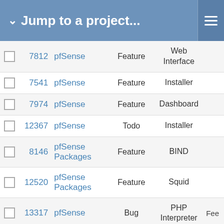Jump to a project...
|  | # | Project | Type | Category |  |
| --- | --- | --- | --- | --- | --- |
|  | 7812 | pfSense | Feature | Web Interface |  |
|  | 7541 | pfSense | Feature | Installer |  |
|  | 7974 | pfSense | Feature | Dashboard |  |
|  | 12367 | pfSense | Todo | Installer |  |
|  | 8146 | pfSense Packages | Feature | BIND |  |
|  | 12520 | pfSense Packages | Feature | Squid |  |
|  | 13317 | pfSense | Bug | PHP Interpreter | Fee |
|  | 13394 | pfSense | Regression | Operating System |  |